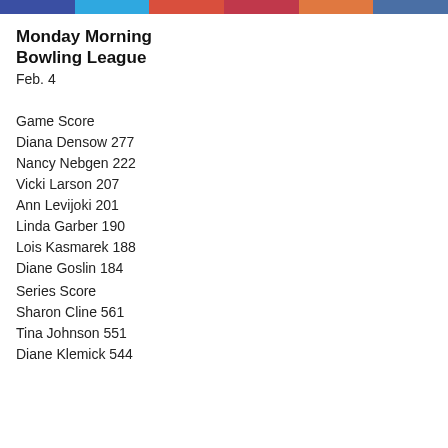colored bar strip
Monday Morning Bowling League
Feb. 4
Game Score
Diana Densow 277
Nancy Nebgen 222
Vicki Larson 207
Ann Levijoki 201
Linda Garber 190
Lois Kasmarek 188
Diane Goslin 184
Series Score
Sharon Cline 561
Tina Johnson 551
Diane Klemick 544